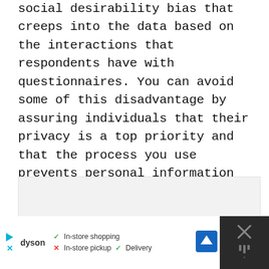social desirability bias that creeps into the data based on the interactions that respondents have with questionnaires. You can avoid some of this disadvantage by assuring individuals that their privacy is a top priority and that the process you use prevents personal information leaks, but you can’t stop this problem 100% of the time.
[Figure (other): Advertisement placeholder box (light gray rectangle)]
[Figure (other): Advertisement banner at bottom: Dyson brand ad with in-store shopping, in-store pickup (X), Delivery checkmarks, navigation icon, and close button on dark background]